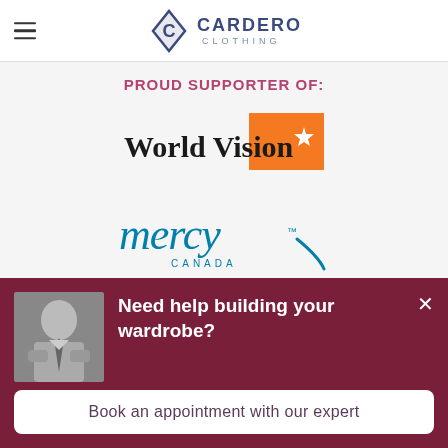Cardero Clothing
PROUD SUPPORTER OF:
[Figure (logo): World Vision logo with orange triangle and star]
[Figure (logo): Mercy Canada logo in blue script with canada text below]
Need help building your wardrobe?
Book an appointment with our expert